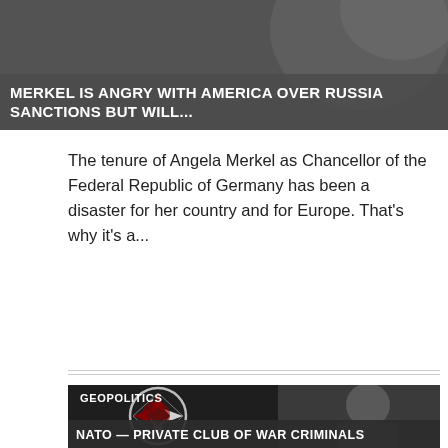[Figure (photo): Dark gray background news article thumbnail image with overlay title text: MERKEL IS ANGRY WITH AMERICA OVER RUSSIA SANCTIONS BUT WILL...]
MERKEL IS ANGRY WITH AMERICA OVER RUSSIA SANCTIONS BUT WILL...
The tenure of Angela Merkel as Chancellor of the Federal Republic of Germany has been a disaster for her country and for Europe. That's why it's a...
[Figure (photo): Dark image combining a stylized NATO compass rose logo with red/blood imagery on the left side, and a grayscale photo of a man with his hand on his chin on the right side. Tag 'GEOPOLITICS' in upper left. Bottom bar reads: NATO — PRIVATE CLUB OF WAR CRIMINALS]
GEOPOLITICS
NATO — PRIVATE CLUB OF WAR CRIMINALS